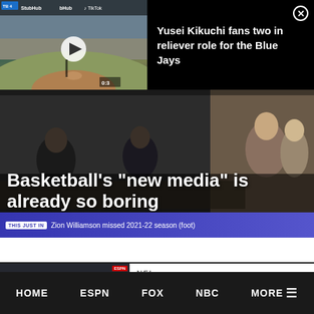[Figure (screenshot): Video thumbnail of a baseball game with StubHub and TikTok branding visible, play button overlay]
Yusei Kikuchi fans two in reliever role for the Blue Jays
[Figure (photo): Basketball studio set with people seated around a table in a dark broadcast environment]
Basketball’s “new media” is already so boring
THIS JUST IN Zion Williamson missed 2021-22 season (foot)
[Figure (photo): Two radio hosts with headphones at a Patriots training camp press conference setup]
NFL
Boston radio hosts emphatically call Patriots-Panthers brawl live from training camp: “Jesus
HOME   ESPN   FOX   NBC   MORE